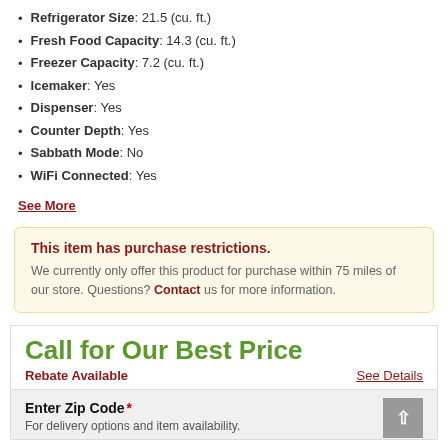Refrigerator Size: 21.5 (cu. ft.)
Fresh Food Capacity: 14.3 (cu. ft.)
Freezer Capacity: 7.2 (cu. ft.)
Icemaker: Yes
Dispenser: Yes
Counter Depth: Yes
Sabbath Mode: No
WiFi Connected: Yes
See More
This item has purchase restrictions. We currently only offer this product for purchase within 75 miles of our store. Questions? Contact us for more information.
Call for Our Best Price
Rebate Available
See Details
Enter Zip Code *
For delivery options and item availability.